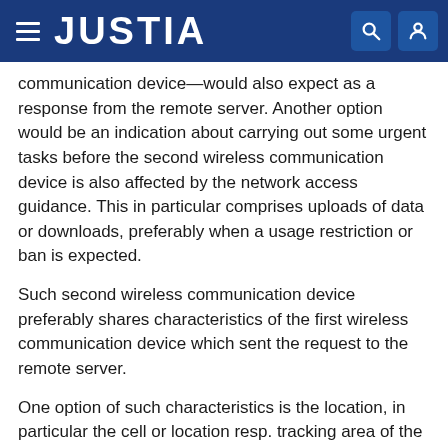JUSTIA
communication device—would also expect as a response from the remote server. Another option would be an indication about carrying out some urgent tasks before the second wireless communication device is also affected by the network access guidance. This in particular comprises uploads of data or downloads, preferably when a usage restriction or ban is expected.
Such second wireless communication device preferably shares characteristics of the first wireless communication device which sent the request to the remote server.
One option of such characteristics is the location, in particular the cell or location resp. tracking area of the wireless communication devices.
Another option is the cellular network, the wireless